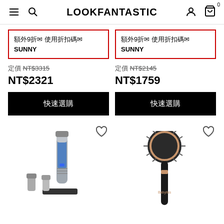LOOKFANTASTIC
額外9折✉ 使用折扣碼✉
SUNNY
額外9折✉ 使用折扣碼✉
SUNNY
定價 NT$3315
NT$2321
定價 NT$2145
NT$1759
快速選購
快速選購
[Figure (photo): Trimmer/grooming kit with multiple attachments on a black stand]
[Figure (photo): Babyliss round hair brush with rose gold and black design]